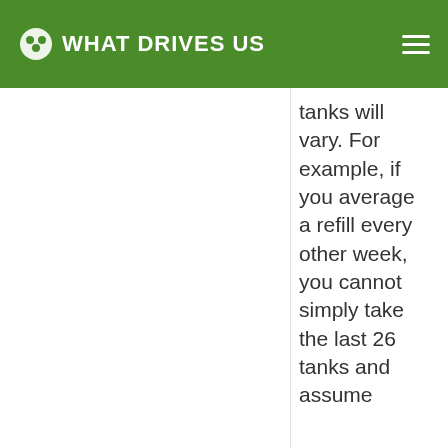WHAT DRIVES US
tanks will vary. For example, if you average a refill every other week, you cannot simply take the last 26 tanks and assume